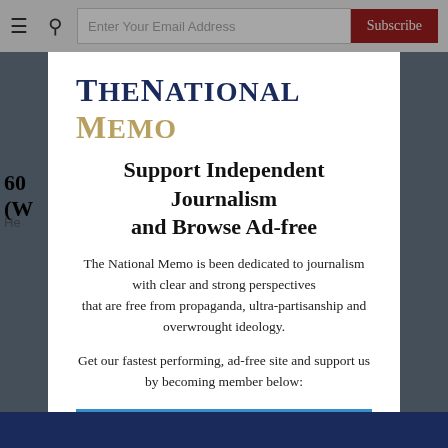≡  🔍  Enter Your Email Address  Subscribe
[Figure (screenshot): Background website content partially visible behind modal overlay]
[Figure (logo): The National Memo logo — THE in dark navy serif, NATIONAL in dark navy serif bold, MEMO in tan/gold serif]
Support Independent Journalism and Browse Ad-free
The National Memo is been dedicated to journalism with clear and strong perspectives that are free from propaganda, ultra-partisanship and overwrought ideology.
Get our fastest performing, ad-free site and support us by becoming member below:
Become a Supporting Member & Go